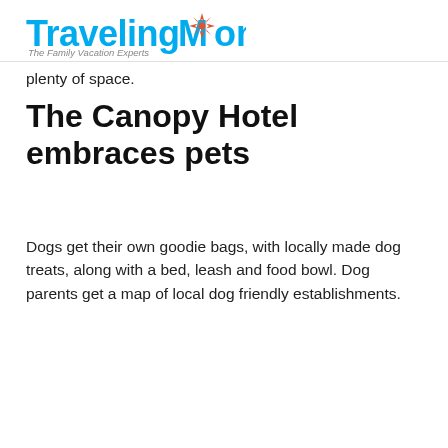TravelingMom — The Family Vacation Experts
plenty of space.
The Canopy Hotel embraces pets
Dogs get their own goodie bags, with locally made dog treats, along with a bed, leash and food bowl. Dog parents get a map of local dog friendly establishments.